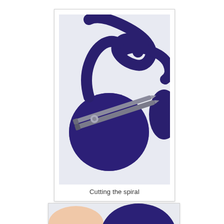[Figure (photo): Close-up photo of dark blue/navy felt fabric cut into a spiral shape, with scissors (metallic, pointed) cutting through the spiral. The felt circle and curling spiral strip are on a white background.]
Cutting the spiral
[Figure (photo): Partial view of another photo showing a dark blue/navy felt circle with a hand partially visible, likely demonstrating the next step in the craft process.]